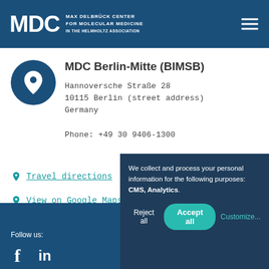MDC MAX DELBRUCK CENTER FOR MOLECULAR MEDICINE IN THE HELMHOLTZ ASSOCIATION
MDC Berlin-Mitte (BIMSB)
Hannoversche Straße 28
10115 Berlin (street address)
Germany

Phone: +49 30 9406-1300
Travel directions
View on Google Maps
Follow us:
We collect and process your personal information for the following purposes: CMS, Analytics.
Reject all  Accept all  Customize...